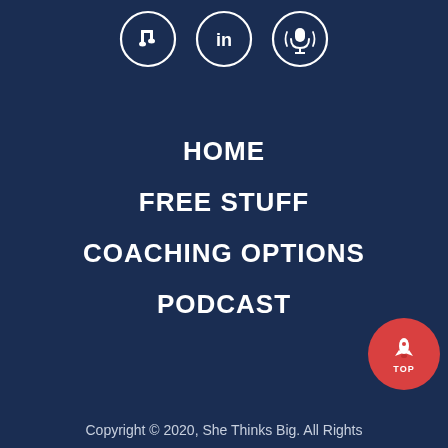[Figure (illustration): Three circular social media icons: Apple Music/iTunes (musical note), LinkedIn (in), and Podcast (microphone with signal waves). White outline circles on dark navy background.]
HOME
FREE STUFF
COACHING OPTIONS
PODCAST
[Figure (illustration): Red circular button with white rocket icon and text TOP]
Copyright © 2020, She Thinks Big. All Rights